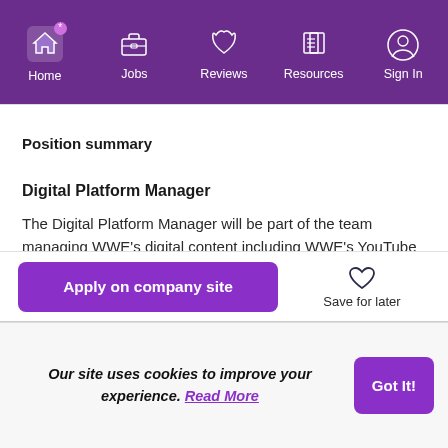Home | Jobs | Reviews | Resources | Sign In
Position summary
Digital Platform Manager
The Digital Platform Manager will be part of the team managing WWE's digital content including WWE's YouTube channel with 88 million subscribers. The role will be expected to have a deep understanding of the YouTube ecosystem
Apply on company site
Save for later
Our site uses cookies to improve your experience. Read More
Got It!